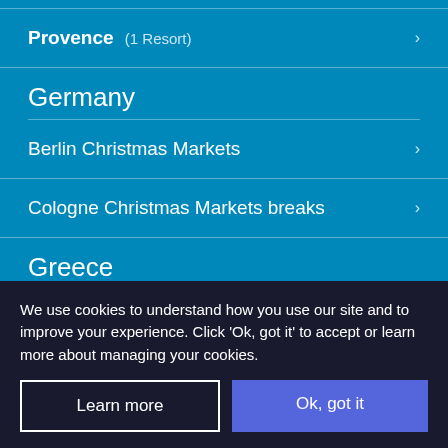Provence (1 Resort)
Germany
Berlin Christmas Markets
Cologne Christmas Markets breaks
Greece
Alonissos (5 Resorts)
We use cookies to understand how you use our site and to improve your experience. Click 'Ok, got it' to accept or learn more about managing your cookies.
Learn more
Ok, got it